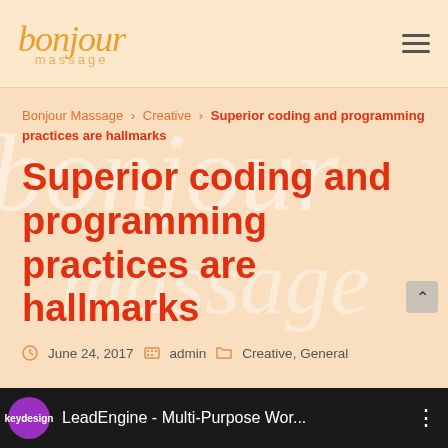bonjour massage
Bonjour Massage › Creative › Superior coding and programming practices are hallmarks
Superior coding and programming practices are hallmarks
June 24, 2017  admin  Creative, General
LeadEngine - Multi-Purpose Wor...